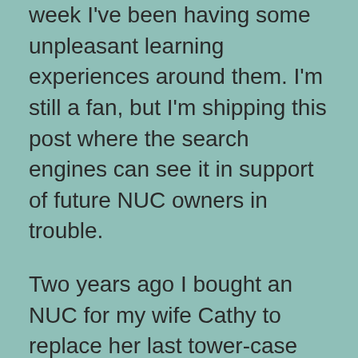week I've been having some unpleasant learning experiences around them. I'm still a fan, but I'm shipping this post where the search engines can see it in support of future NUC owners in trouble.
Two years ago I bought an NUC for my wife Cathy to replace her last tower-case PC – the NUC8i3BEH1. This model was semi-obsolete even then, but I didn't want one of the newer i5 or i7 NUCs because I didn't think it would fit my wife's needs as well.
What my wife does with her computer doesn't tax it much. Web browsing, office work, a bit of